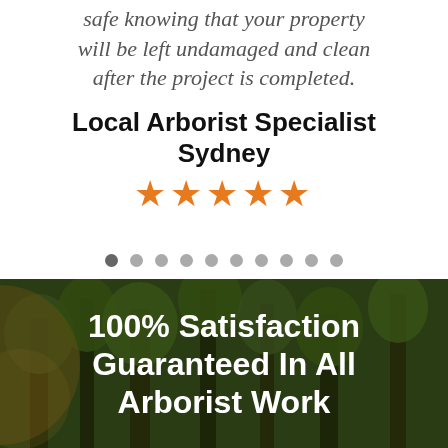safe knowing that your property will be left undamaged and clean after the project is completed.
Local Arborist Specialist Sydney
[Figure (other): Five orange star rating icons]
[Figure (other): Carousel navigation dots, 10 dots with first one active/darker]
[Figure (photo): Background photo of trees with overlay text: 100% Satisfaction Guaranteed In All Arborist Work]
100% Satisfaction Guaranteed In All Arborist Work
CONTACT US
0480 024 330